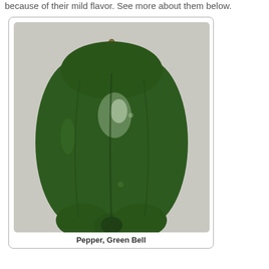because of their mild flavor. See more about them below.
[Figure (photo): A photograph of a green bell pepper (Capsicum annuum) shown against a light gray background. The pepper is shown whole, stem up, with a shiny dark green surface and characteristic lobed shape.]
Pepper, Green Bell